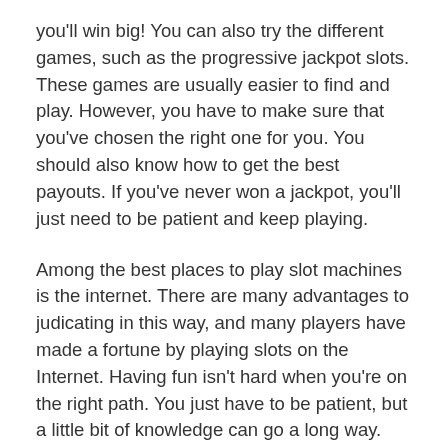you'll win big! You can also try the different games, such as the progressive jackpot slots. These games are usually easier to find and play. However, you have to make sure that you've chosen the right one for you. You should also know how to get the best payouts. If you've never won a jackpot, you'll just need to be patient and keep playing.
Among the best places to play slot machines is the internet. There are many advantages to judicating in this way, and many players have made a fortune by playing slots on the Internet. Having fun isn't hard when you're on the right path. You just have to be patient, but a little bit of knowledge can go a long way. And if you're willing to learn, there are tons of tutorials on slot games that will help you get started.
In order to win in mesin slots, you should be aware of the risks. In general, you should stick to low volatility games